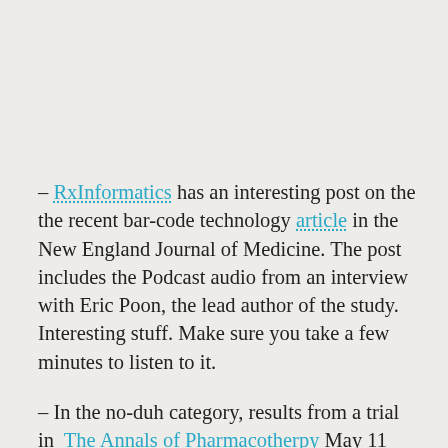– RxInformatics has an interesting post on the the recent bar-code technology article in the New England Journal of Medicine. The post includes the Podcast audio from an interview with Eric Poon, the lead author of the study. Interesting stuff. Make sure you take a few minutes to listen to it.
– In the no-duh category, results from a trial in  The Annals of Pharmacotherpy May 11 issue shows that “Implicit measurement of actual inappropriate prescribing  predicted ADE risk, an important clinical